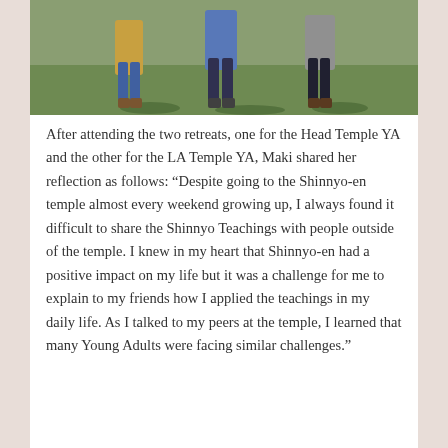[Figure (photo): Outdoor photo showing people (young adults/children) walking on grass, partially cropped at the top. Figures are seen from roughly waist down in casual clothing.]
After attending the two retreats, one for the Head Temple YA and the other for the LA Temple YA, Maki shared her reflection as follows: “Despite going to the Shinnyo-en temple almost every weekend growing up, I always found it difficult to share the Shinnyo Teachings with people outside of the temple. I knew in my heart that Shinnyo-en had a positive impact on my life but it was a challenge for me to explain to my friends how I applied the teachings in my daily life. As I talked to my peers at the temple, I learned that many Young Adults were facing similar challenges.”